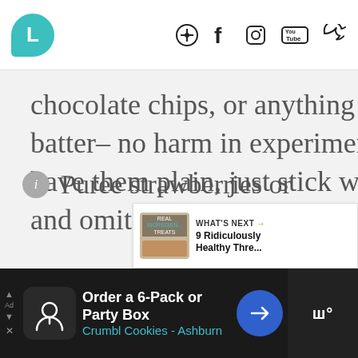L [logo] | Pinterest Facebook Instagram YouTube Twitter
chocolate chips, or anything else you'd like to the batter– no harm in experimenting! If you would rather have them plain, just stick with the banana and eggs and omit the protein powder.
Puree strawberries or
[Figure (infographic): WHAT'S NEXT arrow - 9 Ridiculously Healthy Thre... with thumbnail image]
Order a 6-Pack or Party Box Crumbl Cookies - Ashburn [advertisement]